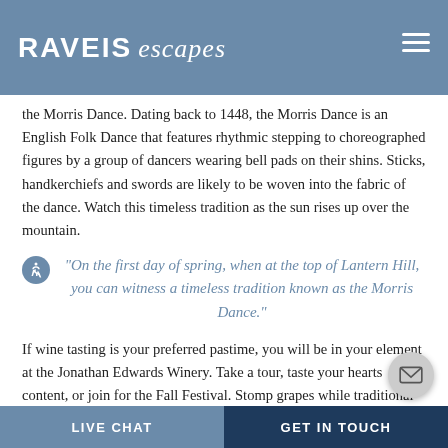RAVEIS escapes
the Morris Dance. Dating back to 1448, the Morris Dance is an English Folk Dance that features rhythmic stepping to choreographed figures by a group of dancers wearing bell pads on their shins. Sticks, handkerchiefs and swords are likely to be woven into the fabric of the dance. Watch this timeless tradition as the sun rises up over the mountain.
"On the first day of spring, when at the top of Lantern Hill, you can witness a timeless tradition known as the Morris Dance."
If wine tasting is your preferred pastime, you will be in your element at the Jonathan Edwards Winery. Take a tour, taste your hearts content, or join for the Fall Festival. Stomp grapes while traditional music plays!
LIVE CHAT   GET IN TOUCH